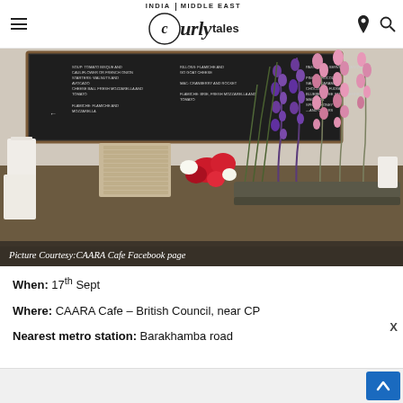Curly Tales — INDIA | MIDDLE EAST
[Figure (photo): Interior of CAARA Cafe showing a long table with floral arrangements of purple, pink, and red flowers, white candles, stacked plates, and a dark chalkboard menu on the wall in the background.]
Picture Courtesy:CAARA Cafe Facebook page
When: 17th Sept
Where: CAARA Cafe – British Council, near CP
Nearest metro station: Barakhamba road